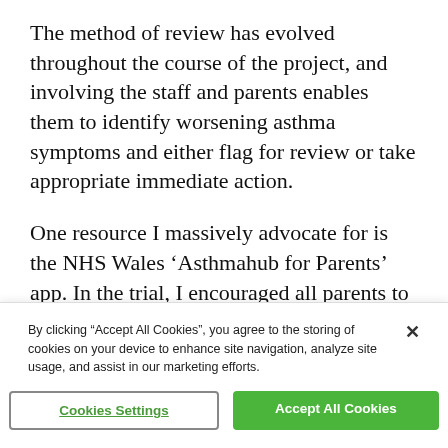The method of review has evolved throughout the course of the project, and involving the staff and parents enables them to identify worsening asthma symptoms and either flag for review or take appropriate immediate action.

One resource I massively advocate for is the NHS Wales ‘Asthmahub for Parents’ app. In the trial, I encouraged all parents to download it as it contains a great deal of information from a
By clicking “Accept All Cookies”, you agree to the storing of cookies on your device to enhance site navigation, analyze site usage, and assist in our marketing efforts.
Cookies Settings
Accept All Cookies